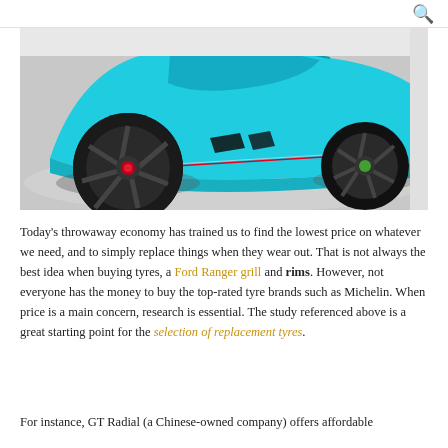🔍
[Figure (photo): Close-up side view of a blue supercar (Lamborghini-style) with large black alloy wheels, on a light grey floor in a showroom or garage setting.]
Today's throwaway economy has trained us to find the lowest price on whatever we need, and to simply replace things when they wear out. That is not always the best idea when buying tyres, a Ford Ranger grill and rims. However, not everyone has the money to buy the top-rated tyre brands such as Michelin. When price is a main concern, research is essential. The study referenced above is a great starting point for the selection of replacement tyres.
For instance, GT Radial (a Chinese-owned company) offers affordable